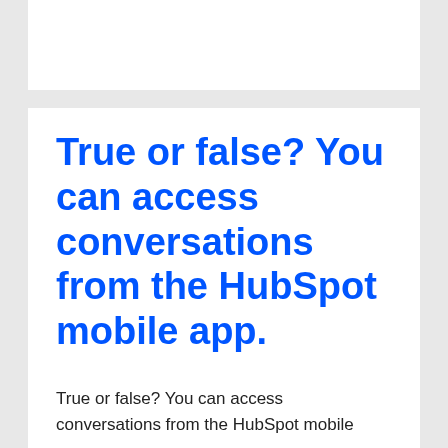True or false? You can access conversations from the HubSpot mobile app.
True or false? You can access conversations from the HubSpot mobile